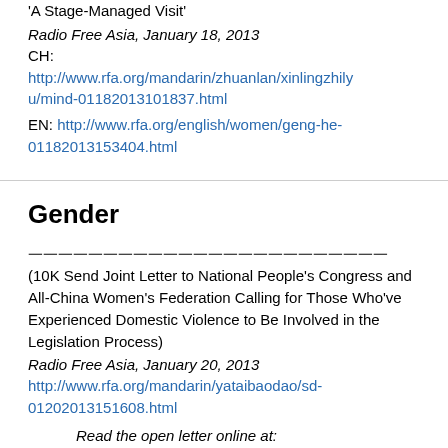'A Stage-Managed Visit'
Radio Free Asia, January 18, 2013
CH: http://www.rfa.org/mandarin/zhuanlan/xinlingzhilyu/mind-01182013101837.html
EN: http://www.rfa.org/english/women/geng-he-01182013153404.html
Gender
一一一一一一一一一一一一一一一一一一一一一一一一 (10K Send Joint Letter to National People's Congress and All-China Women's Federation Calling for Those Who've Experienced Domestic Violence to Be Involved in the Legislation Process)
Radio Free Asia, January 20, 2013
http://www.rfa.org/mandarin/yataibaodao/sd-01202013151608.html
Read the open letter online at: